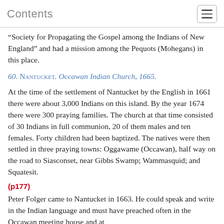Contents
“Society for Propagating the Gospel among the Indians of New England” and had a mission among the Pequots (Mohegans) in this place.
60. Nantucket. Occawan Indian Church, 1665.
At the time of the settlement of Nantucket by the English in 1661 there were about 3,000 Indians on this island. By the year 1674 there were 300 praying families. The church at that time consisted of 30 Indians in full communion, 20 of them males and ten females. Forty children had been baptized. The natives were then settled in three praying towns: Oggawame (Occawan), half way on the road to Siasconset, near Gibbs Swamp; Wammasquid; and Squatesit.
(p177)
Peter Folger came to Nantucket in 1663. He could speak and write in the Indian language and must have preached often in the Occawan meeting house and at